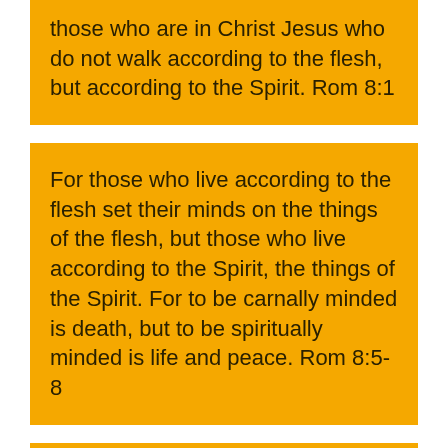those who are in Christ Jesus who do not walk according to the flesh, but according to the Spirit. Rom 8:1
For those who live according to the flesh set their minds on the things of the flesh, but those who live according to the Spirit, the things of the Spirit. For to be carnally minded is death, but to be spiritually minded is life and peace. Rom 8:5-8
For we were saved in this hope, but hope that is seen is not hope; for why does one still hope for what he sees? But if we hope for what we do